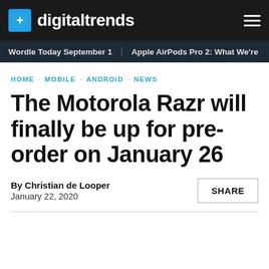digitaltrends
Wordle Today September 1 · Apple AirPods Pro 2: What We're
HOME · MOBILE · ANDROID · NEWS
The Motorola Razr will finally be up for pre-order on January 26
By Christian de Looper
January 22, 2020
SHARE